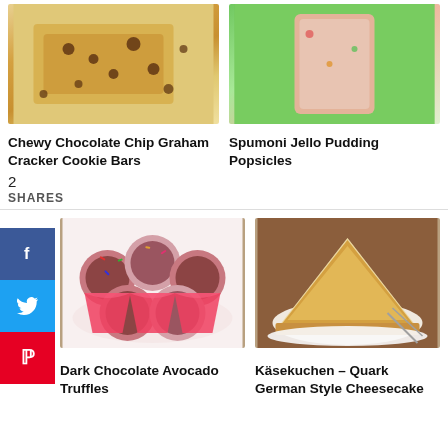[Figure (photo): Chewy Chocolate Chip Graham Cracker Cookie Bars - stacked golden bars with chocolate chips on a white surface]
[Figure (photo): Spumoni Jello Pudding Popsicles - colorful popsicle being held outdoors with green background]
Chewy Chocolate Chip Graham Cracker Cookie Bars
Spumoni Jello Pudding Popsicles
2
SHARES
[Figure (photo): Dark Chocolate Avocado Truffles - chocolate truffles in colorful paper cups with sprinkles]
[Figure (photo): Käsekuchen - Quark German Style Cheesecake - slice of cheesecake on a plate with a fork]
Dark Chocolate Avocado Truffles
Käsekuchen – Quark German Style Cheesecake